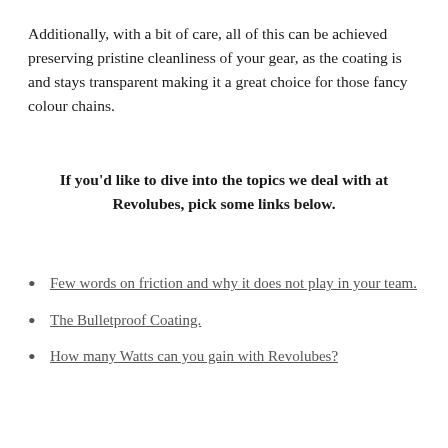Additionally, with a bit of care, all of this can be achieved preserving pristine cleanliness of your gear, as the coating is and stays transparent making it a great choice for those fancy colour chains.
If you'd like to dive into the topics we deal with at Revolubes, pick some links below.
Few words on friction and why it does not play in your team.
The Bulletproof Coating.
How many Watts can you gain with Revolubes?